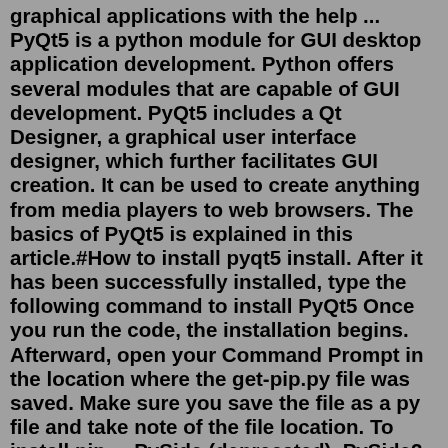graphical applications with the help ... PyQt5 is a python module for GUI desktop application development. Python offers several modules that are capable of GUI development. PyQt5 includes a Qt Designer, a graphical user interface designer, which further facilitates GUI creation. It can be used to create anything from media players to web browsers. The basics of PyQt5 is explained in this article.#How to install pyqt5 install. After it has been successfully installed, type the following command to install PyQt5 Once you run the code, the installation begins. Afterward, open your Command Prompt in the location where the get-pip.py file was saved. Make sure you save the file as a py file and take note of the file location. To install pip ... PySide (deprecated), PySide2 (Active) is basically the same as PyQt, but with a different license and developed by the QT company, to makes things even less clear it also goes by the name QT for ...May 21, 2019 · If you need to use PyQt in a non-GPL project you will need to purchase an alternative license from Riverbank